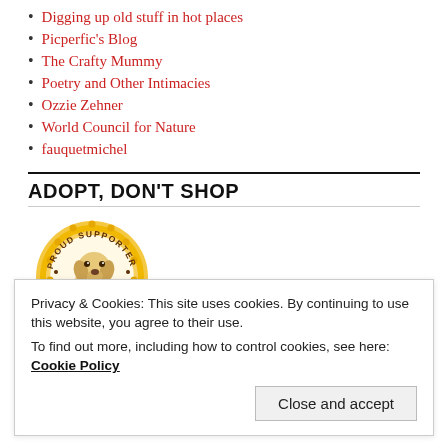Digging up old stuff in hot places
Picperfic's Blog
The Crafty Mummy
Poetry and Other Intimacies
Ozzie Zehner
World Council for Nature
fauquetmichel
ADOPT, DON'T SHOP
[Figure (logo): Petfinder Proud Supporter badge — circular gold seal with a golden retriever dog in the center, text reading PROUD SUPPORTER around the top and PETFINDER around the bottom]
Privacy & Cookies: This site uses cookies. By continuing to use this website, you agree to their use.
To find out more, including how to control cookies, see here: Cookie Policy